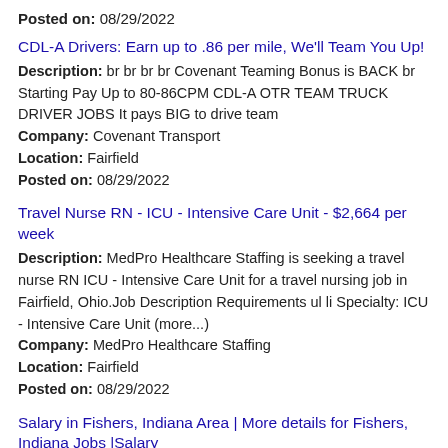Posted on: 08/29/2022
CDL-A Drivers: Earn up to .86 per mile, We'll Team You Up!
Description: br br br br Covenant Teaming Bonus is BACK br Starting Pay Up to 80-86CPM CDL-A OTR TEAM TRUCK DRIVER JOBS It pays BIG to drive team
Company: Covenant Transport
Location: Fairfield
Posted on: 08/29/2022
Travel Nurse RN - ICU - Intensive Care Unit - $2,664 per week
Description: MedPro Healthcare Staffing is seeking a travel nurse RN ICU - Intensive Care Unit for a travel nursing job in Fairfield, Ohio.Job Description Requirements ul li Specialty: ICU - Intensive Care Unit (more...)
Company: MedPro Healthcare Staffing
Location: Fairfield
Posted on: 08/29/2022
Salary in Fishers, Indiana Area | More details for Fishers, Indiana Jobs |Salary
Travel Nurse RN - Progressive Care Unit - $2,664 per week